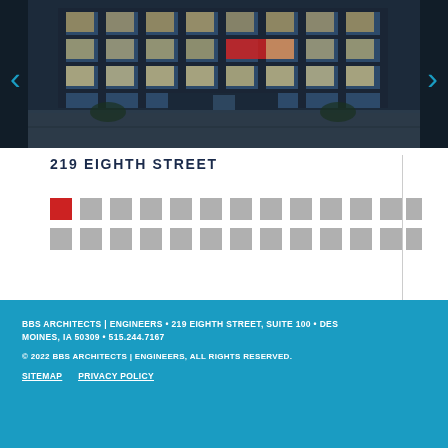[Figure (photo): Exterior night photo of 219 Eighth Street building — a modern glass-facade multi-story office building with illuminated interiors]
219 EIGHTH STREET
[Figure (infographic): Pagination dot grid: one red square followed by 25 grey squares arranged in two rows, indicating image carousel position]
BBS ARCHITECTS | ENGINEERS • 219 EIGHTH STREET, SUITE 100 • DES MOINES, IA 50309 • 515.244.7167
© 2022 BBS ARCHITECTS | ENGINEERS, ALL RIGHTS RESERVED.
SITEMAP    PRIVACY POLICY